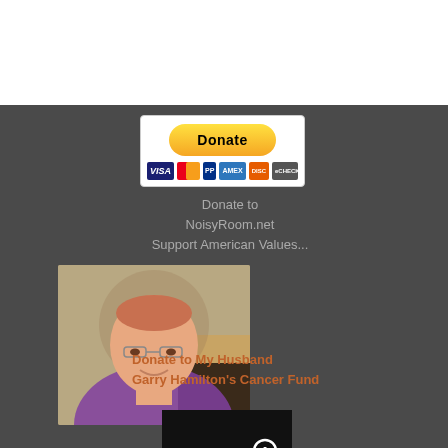[Figure (screenshot): PayPal donate button widget with credit card logos (Visa, Mastercard, PayPal, Amex, Discover, eCheck)]
Donate to NoisyRoom.net Support American Values...
[Figure (photo): Photo of a middle-aged man with short hair, wearing glasses, seated near a desk]
Donate to My Husband Garry Hamilton's Cancer Fund
[Figure (logo): Libertas Bella logo — white text on black background with anarchy symbol between LIBERT and S]